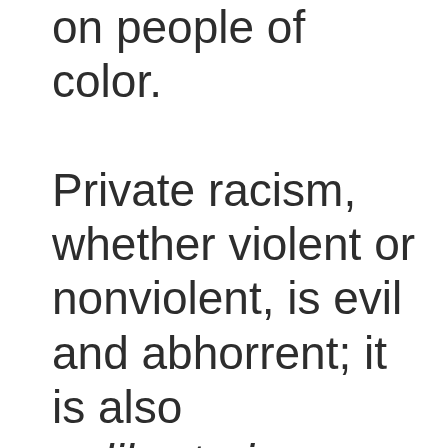on people of color. Private racism, whether violent or nonviolent, is evil and abhorrent; it is also unlibertarian — yes, even